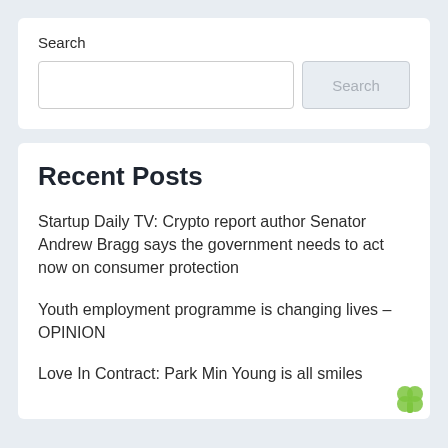Search
Search
Recent Posts
Startup Daily TV: Crypto report author Senator Andrew Bragg says the government needs to act now on consumer protection
Youth employment programme is changing lives – OPINION
Love In Contract: Park Min Young is all smiles